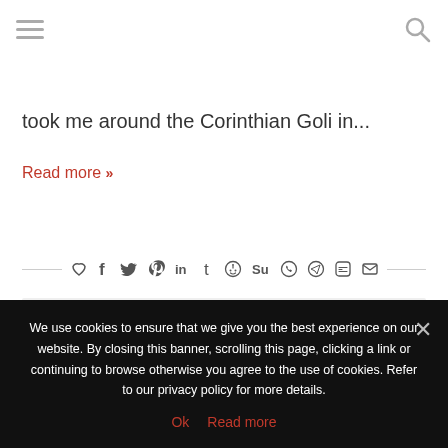[Figure (other): Hamburger menu icon (three horizontal lines) in top-left corner]
[Figure (other): Search/magnifier icon in top-right corner]
took me around the Corinthian Goli in...
Read more »
[Figure (other): Social share icon bar with heart, facebook, twitter, pinterest, linkedin, tumblr, reddit, stumbleupon, whatsapp, telegram, line, and email icons]
[Figure (other): Gray advertisement/content block placeholder]
We use cookies to ensure that we give you the best experience on our website. By closing this banner, scrolling this page, clicking a link or continuing to browse otherwise you agree to the use of cookies. Refer to our privacy policy for more details.
Ok   Read more